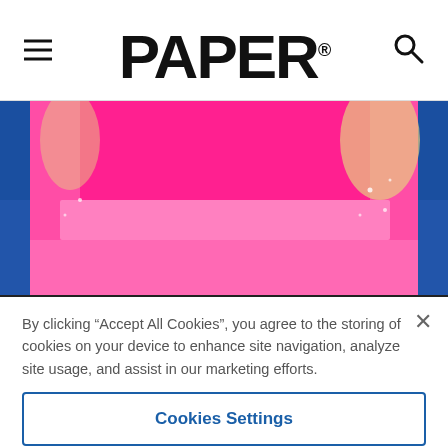PAPER
[Figure (photo): Close-up photo of a person wearing a hot pink/magenta dress with a tulle skirt, blonde hair, against a blue background]
By clicking “Accept All Cookies”, you agree to the storing of cookies on your device to enhance site navigation, analyze site usage, and assist in our marketing efforts.
Cookies Settings
Reject All
Accept All Cookies